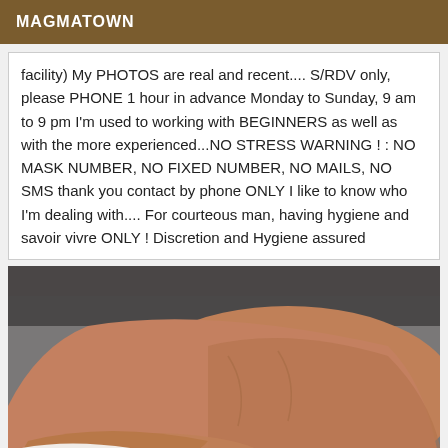MAGMATOWN
facility) My PHOTOS are real and recent.... S/RDV only, please PHONE 1 hour in advance Monday to Sunday, 9 am to 9 pm I'm used to working with BEGINNERS as well as with the more experienced...NO STRESS WARNING ! : NO MASK NUMBER, NO FIXED NUMBER, NO MAILS, NO SMS thank you contact by phone ONLY I like to know who I'm dealing with.... For courteous man, having hygiene and savoir vivre ONLY ! Discretion and Hygiene assured
[Figure (photo): Photo of a person lying on a bed, shirtless, upper body visible]